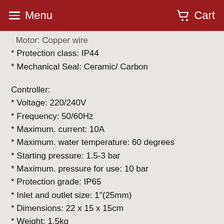Menu   Cart
Motor: Copper wire
* Protection class: IP44
* Mechanical Seal: Ceramic/ Carbon
Controller:
* Voltage: 220/240V
* Frequency: 50/60Hz
* Maximum. current: 10A
* Maximum. water temperature: 60 degrees
* Starting pressure: 1.5-3 bar
* Maximum. pressure for use: 10 bar
* Protection grade: IP65
* Inlet and outlet size: 1"(25mm)
* Dimensions: 22 x 15 x 15cm
* Weight: 1.5kg
Package Contents
1 x 4 Stage Pool Pump
1 x Pump Controller